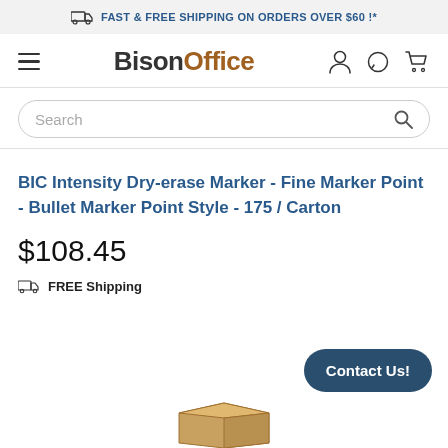FAST & FREE SHIPPING ON ORDERS OVER $60 !*
[Figure (logo): BisonOffice logo with hamburger menu, user icon, chat icon, and cart icon navigation bar]
[Figure (screenshot): Search bar with rounded pill shape and magnifying glass icon]
BIC Intensity Dry-erase Marker - Fine Marker Point - Bullet Marker Point Style - 175 / Carton
$108.45
FREE Shipping
Contact Us!